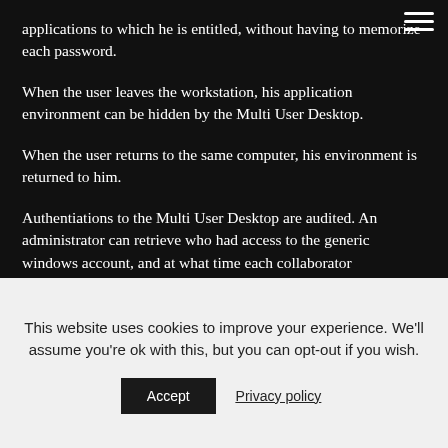applications to which he is entitled, without having to memorize each password.
When the user leaves the workstation, his application environment can be hidden by the Multi User Desktop.
When the user returns to the same computer, his environment is returned to him.
Authentiations to the Multi User Desktop are audited. An administrator can retrieve who had access to the generic windows account, and at what time each collaborator autenticated to their Enteprise SSO environment.
Video on Evidian Multi User Dekston with a Microsoft
This website uses cookies to improve your experience. We'll assume you're ok with this, but you can opt-out if you wish.